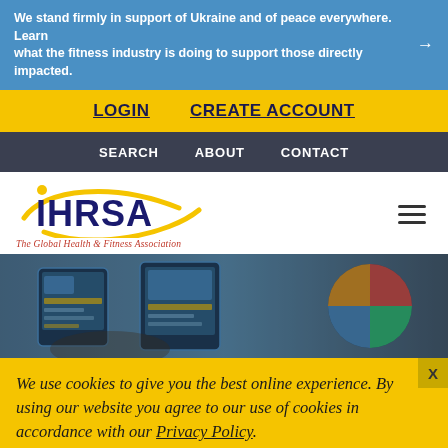We stand firmly in support of Ukraine and of peace everywhere. Learn what the fitness industry is doing to support those directly impacted. →
LOGIN   CREATE ACCOUNT
SEARCH   ABOUT   CONTACT
[Figure (logo): IHRSA logo — The Global Health & Fitness Association]
[Figure (photo): Hero image showing tablet devices with dashboard/analytics screens on a desk, blurred background style]
We use cookies to give you the best online experience. By using our website you agree to our use of cookies in accordance with our Privacy Policy.
English >